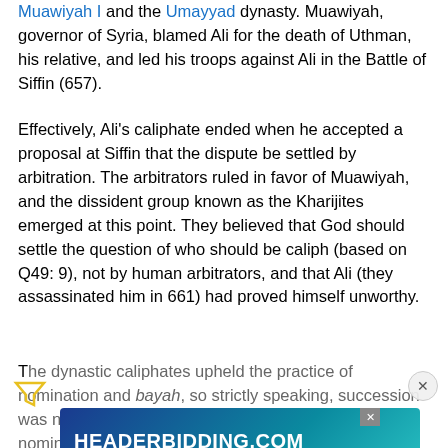Muawiyah I and the Umayyad dynasty. Muawiyah, governor of Syria, blamed Ali for the death of Uthman, his relative, and led his troops against Ali in the Battle of Siffin (657).
Effectively, Ali's caliphate ended when he accepted a proposal at Siffin that the dispute be settled by arbitration. The arbitrators ruled in favor of Muawiyah, and the dissident group known as the Kharijites emerged at this point. They believed that God should settle the question of who should be caliph (based on Q49: 9), not by human arbitrators, and that Ali (they assassinated him in 661) had proved himself unworthy.
The dynastic caliphates upheld the practice of nomination and bayah, so strictly speaking, succession was not automatic. Muawiyah, the first Umayyad, nominated his son, Ya... endors... Husayn (Muhammad's grandson) declined, as did Abd
[Figure (other): Advertisement banner for HEADERBIDDING.COM with text 'Your source for all things programmatic advertising.' on a blue/teal gradient background.]